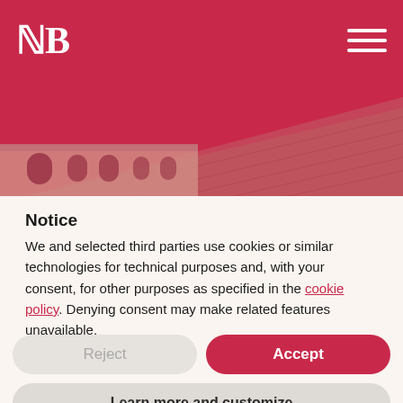B [logo] with hamburger menu
[Figure (photo): Sepia-toned photograph of a historic brick building with arched windows and a large sloped roof, viewed at an angle from below]
Notice
We and selected third parties use cookies or similar technologies for technical purposes and, with your consent, for other purposes as specified in the cookie policy. Denying consent may make related features unavailable.
Reject
Accept
Learn more and customize